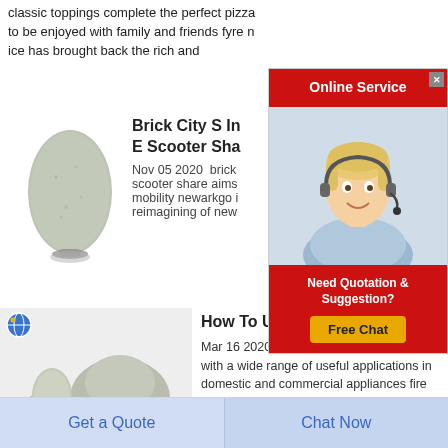classic toppings complete the perfect pizza to be enjoyed with family and friends fyre n ice has brought back the rich and
[Figure (photo): Egg-shaped grey powder/granule product on a small stand]
Brick City S In E Scooter Sha
Nov 05 2020  brick scooter share aims mobility newarkgo i reimagining of new
[Figure (infographic): Online Service popup with customer service agent photo, red header, and Free Chat button]
[Figure (photo): Grey powder/cement piles with egg-shaped product and globe icon]
How To Use F
Mar 16 2020  fire ce with a wide range of useful applications in domestic and commercial appliances fire cement is used in fireplaces stoves gas cookers boilers central heating systems and
Get a Quote
Chat Now